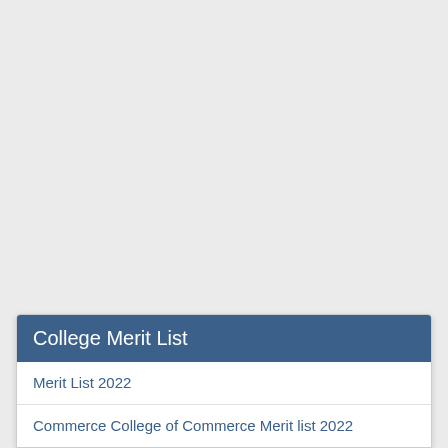College Merit List
Merit List 2022
Commerce College of Commerce Merit list 2022